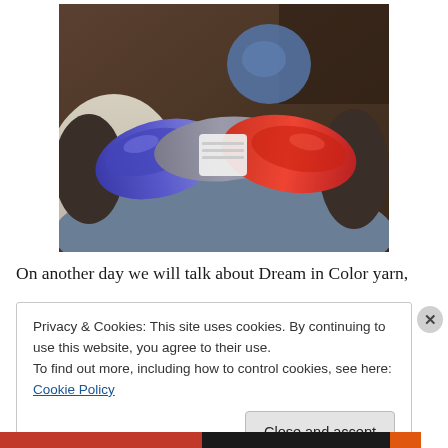[Figure (photo): A person holding skeins of yarn in blue, grey, and red/orange colors, sitting on what appears to be a couch or chair, wearing jeans.]
On another day we will talk about Dream in Color yarn,
Privacy & Cookies: This site uses cookies. By continuing to use this website, you agree to their use.
To find out more, including how to control cookies, see here: Cookie Policy
Close and accept